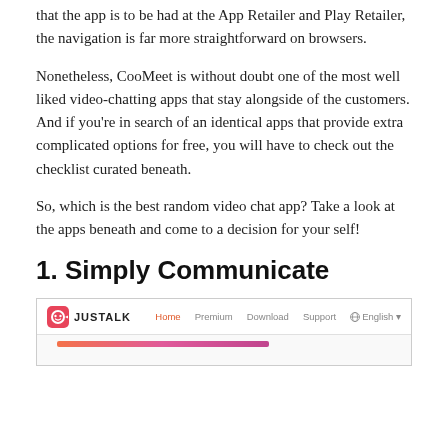that the app is to be had at the App Retailer and Play Retailer, the navigation is far more straightforward on browsers.
Nonetheless, CooMeet is without doubt one of the most well liked video-chatting apps that stay alongside of the customers. And if you're in search of an identical apps that provide extra complicated options for free, you will have to check out the checklist curated beneath.
So, which is the best random video chat app? Take a look at the apps beneath and come to a decision for your self!
1. Simply Communicate
[Figure (screenshot): Screenshot of the JusTalk website showing the navigation bar with logo, Home, Premium, Download, Support, and English menu items, and the beginning of a colorful gradient banner below.]